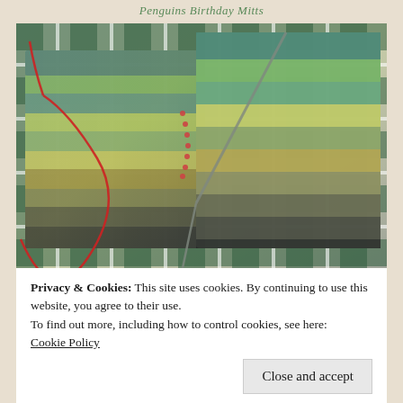Penguins Birthday Mitts
[Figure (photo): A knitting work-in-progress showing a colorful handspun scarf or mitts in shades of green, teal, yellow, and grey/charcoal, laid on a plaid fabric background with knitting needles visible.]
Privacy & Cookies: This site uses cookies. By continuing to use this website, you agree to their use.
To find out more, including how to control cookies, see here: Cookie Policy
Close and accept
Shades of Green Handspun Scarf while still in progress. I haven't